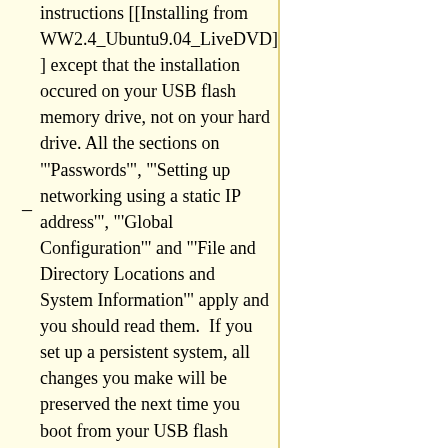instructions [[Installing from WW2.4_Ubuntu9.04_LiveDVD] ] except that the installation occured on your USB flash memory drive, not on your hard drive. All the sections on "'Passwords'", "'Setting up networking using a static IP address'", "'Global Configuration'" and "'File and Directory Locations and System Information'" apply and you should read them.  If you set up a persistent system, all changes you make will be preserved the next time you boot from your USB flash memory drive. If you set up a non-persistent system, the changes will only last until you shut down the system.